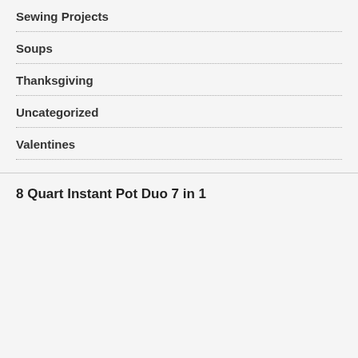Sewing Projects
Soups
Thanksgiving
Uncategorized
Valentines
8 Quart Instant Pot Duo 7 in 1